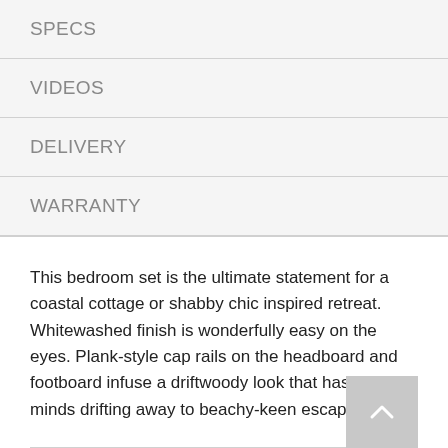SPECS
VIDEOS
DELIVERY
WARRANTY
This bedroom set is the ultimate statement for a coastal cottage or shabby chic inspired retreat. Whitewashed finish is wonderfully easy on the eyes. Plank-style cap rails on the headboard and footboard infuse a driftwoody look that has our minds drifting away to beachy-keen escapes.
FEATURES
Includes panel bed (with headboard, footboard and